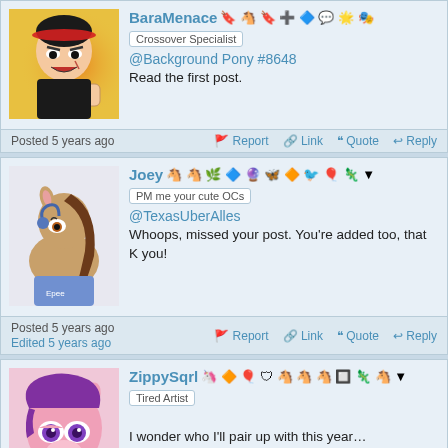[Figure (photo): Anime avatar - Luffy from One Piece angry with fist raised, fire background]
Crossover Specialist
@Background Pony #8648
Read the first post.
Posted 5 years ago   Report   Link   Quote   Reply
[Figure (illustration): OC pony avatar - brown haired pony with headphones wearing blue shirt]
Joey   PM me your cute OCs
@TexasUberAlles
Whoops, missed your post. You're added too, that K you!
Posted 5 years ago   Report   Link   Quote   Reply
Edited 5 years ago
[Figure (illustration): Pony OC avatar - pink/purple pony with large eyes and purple hair]
ZippySqrl   Tired Artist
I wonder who I'll pair up with this year…
Posted 5 years ago   Report   Link   Quote   Reply